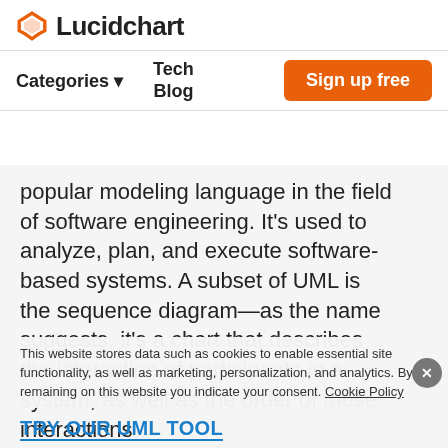[Figure (logo): Lucidchart logo with orange angular icon and bold text 'Lucidchart']
Categories ▾   Tech Blog   Sign up free
popular modeling language in the field of software engineering. It's used to analyze, plan, and execute software-based systems. A subset of UML is the sequence diagram—as the name suggests, it's a chart that describes the interaction of participants in a system, as well as the order of those interactions
This website stores data such as cookies to enable essential site functionality, as well as marketing, personalization, and analytics. By remaining on this website you indicate your consent. Cookie Policy
TRY OUR UML TOOL